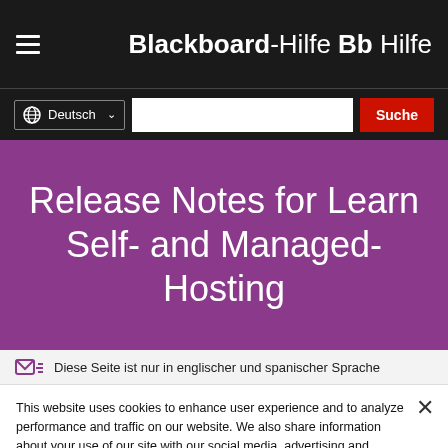Blackboard-Hilfe Bb Hilfe
Release Notes for Learn Self- and Managed-Hosting
Diese Seite ist nur in englischer und spanischer Sprache
This website uses cookies to enhance user experience and to analyze performance and traffic on our website. We also share information about your use of our site with our social media, advertising and analytics partners. Cookie Statement
Do Not Sell My Personal Information
Accept Cookies